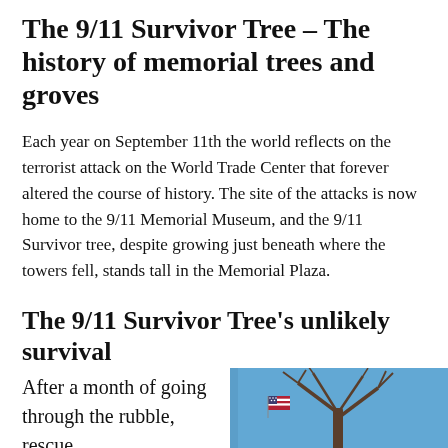The 9/11 Survivor Tree – The history of memorial trees and groves
Each year on September 11th the world reflects on the terrorist attack on the World Trade Center that forever altered the course of history. The site of the attacks is now home to the 9/11 Memorial Museum, and the 9/11 Survivor tree, despite growing just beneath where the towers fell, stands tall in the Memorial Plaza.
The 9/11 Survivor Tree's unlikely survival
After a month of going through the rubble, rescue
[Figure (photo): Photo of a bare tree with branches against a blue sky, with an American flag visible.]